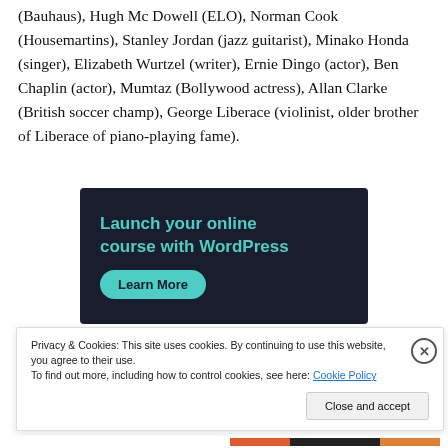(Bauhaus), Hugh Mc Dowell (ELO), Norman Cook (Housemartins), Stanley Jordan (jazz guitarist), Minako Honda (singer), Elizabeth Wurtzel (writer), Ernie Dingo (actor), Ben Chaplin (actor), Mumtaz (Bollywood actress), Allan Clarke (British soccer champ), George Liberace (violinist, older brother of Liberace of piano-playing fame).
[Figure (other): Advertisement banner with dark navy background. Text reads 'Launch your online course with WordPress' in teal/mint color. A teal rounded button labeled 'Learn More' is shown below the text.]
Privacy & Cookies: This site uses cookies. By continuing to use this website, you agree to their use.
To find out more, including how to control cookies, see here: Cookie Policy
Close and accept